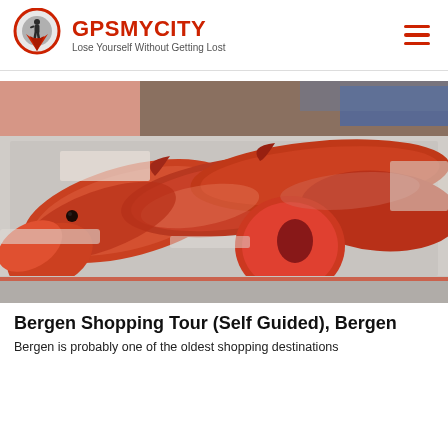GPSMYCITY — Lose Yourself Without Getting Lost
[Figure (photo): Fresh fish display at a market — multiple large orange-red fish fillets and whole fish laid out on ice in a stainless steel market counter]
Bergen Shopping Tour (Self Guided), Bergen
Bergen is probably one of the oldest shopping destinations